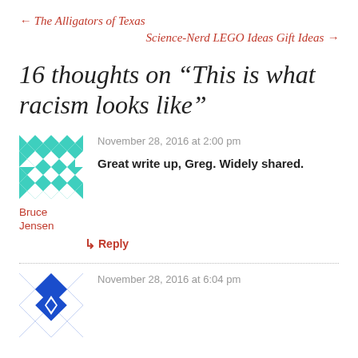← The Alligators of Texas
Science-Nerd LEGO Ideas Gift Ideas →
16 thoughts on “This is what racism looks like”
November 28, 2016 at 2:00 pm
Great write up, Greg. Widely shared.
Bruce Jensen
↳ Reply
November 28, 2016 at 6:04 pm